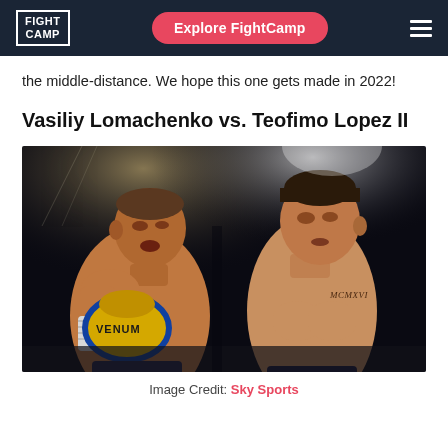FIGHT CAMP | Explore FightCamp
the middle-distance. We hope this one gets made in 2022!
Vasiliy Lomachenko vs. Teofimo Lopez II
[Figure (photo): Two boxers facing each other: Vasiliy Lomachenko on the left wearing Venum gloves and hand wraps, and Teofimo Lopez on the right with MCMXVI tattoo on chest, both in fighting stance against a dark background with arena lighting.]
Image Credit: Sky Sports